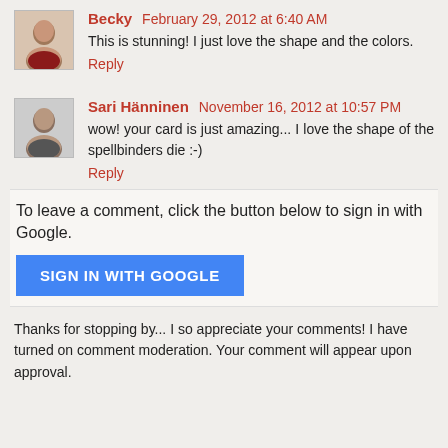Becky  February 29, 2012 at 6:40 AM
This is stunning! I just love the shape and the colors.
Reply
Sari Hänninen  November 16, 2012 at 10:57 PM
wow! your card is just amazing... I love the shape of the spellbinders die :-)
Reply
To leave a comment, click the button below to sign in with Google.
[Figure (other): Blue 'SIGN IN WITH GOOGLE' button]
Thanks for stopping by... I so appreciate your comments! I have turned on comment moderation. Your comment will appear upon approval.